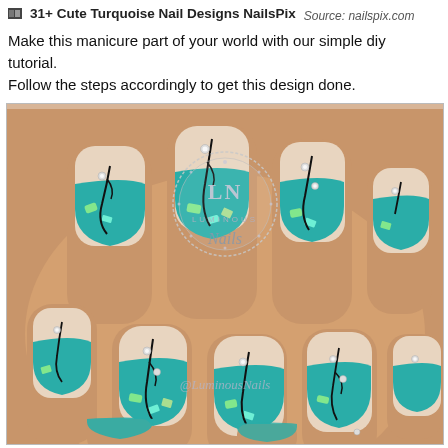31+ Cute Turquoise Nail Designs NailsPix  Source: nailspix.com
Make this manicure part of your world with our simple diy tutorial. Follow the steps accordingly to get this design done.
[Figure (photo): Close-up photo of hands with turquoise nail art designs featuring black swirl lines, holographic glitter pieces, and rhinestone gems. Watermark reads 'LUMINOUS Nails' and '@LuminousNails'.]